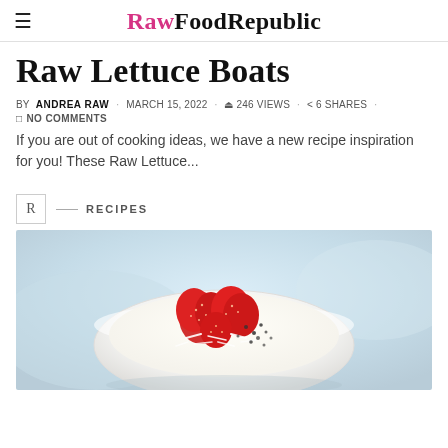≡  RawFoodRepublic
Raw Lettuce Boats
BY ANDREA RAW · MARCH 15, 2022 · 246 VIEWS · 6 SHARES · NO COMMENTS
If you are out of cooking ideas, we have a new recipe inspiration for you! These Raw Lettuce...
R — RECIPES
[Figure (photo): A white bowl filled with fresh strawberries topped with shredded coconut and chia seeds, on a light blue background]